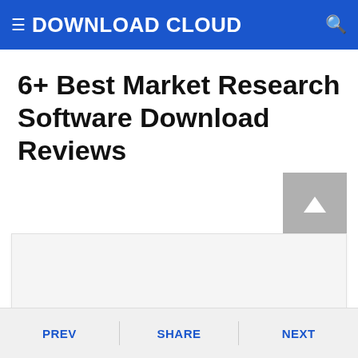DOWNLOAD CLOUD
6+ Best Market Research Software Download Reviews
PREV  SHARE  NEXT